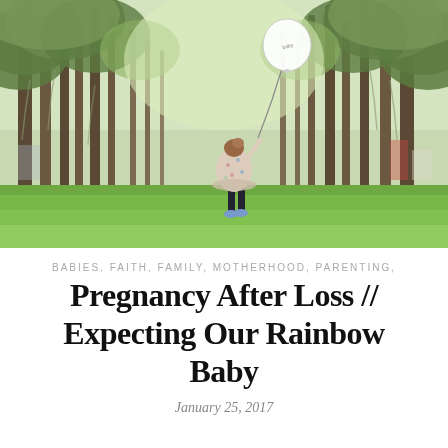[Figure (photo): A young girl in a floral dress and dark leggings walks through a green park lined with large oak trees draped in Spanish moss, holding or releasing a white balloon into the air. The scene is bright and sunny.]
BABIES, FAITH, FAMILY, MOTHERHOOD, PARENTING,
Pregnancy After Loss // Expecting Our Rainbow Baby
January 25, 2017